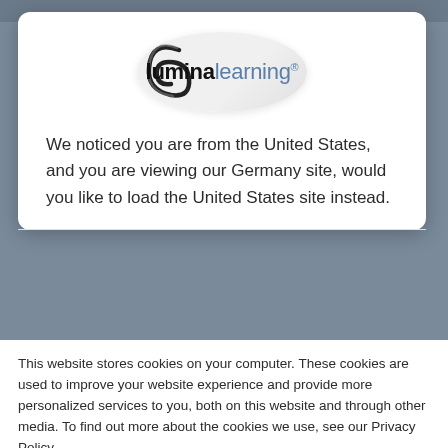[Figure (logo): Lumina Learning logo — oval shape with swirl graphic, text 'luminalearning' with registered trademark symbol]
We noticed you are from the United States, and you are viewing our Germany site, would you like to load the United States site instead.
This website stores cookies on your computer. These cookies are used to improve your website experience and provide more personalized services to you, both on this website and through other media. To find out more about the cookies we use, see our Privacy Policy.
We won't track your information when you visit our site. But in order to comply with your preferences, we'll have to use just one tiny cookie so that you're not asked to make this choice again.
Accept
Decline